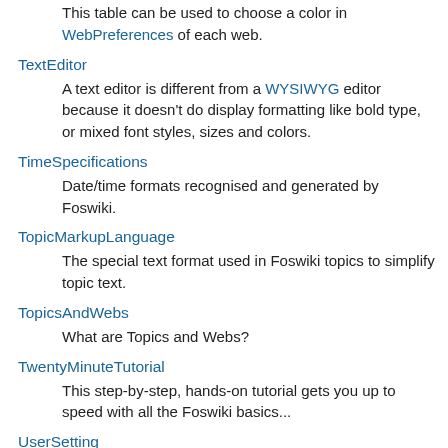This table can be used to choose a color in WebPreferences of each web.
TextEditor
A text editor is different from a WYSIWYG editor because it doesn't do display formatting like bold type, or mixed font styles, sizes and colors.
TimeSpecifications
Date/time formats recognised and generated by Foswiki.
TopicMarkupLanguage
The special text format used in Foswiki topics to simplify topic text.
TopicsAndWebs
What are Topics and Webs?
TwentyMinuteTutorial
This step-by-step, hands-on tutorial gets you up to speed with all the Foswiki basics...
UserSetting
Some of the preference settings are explicitly intended to be customized by users, though a default is provided in System.DefaultPreferences and site wide customisation can take place in Main.SitePreferences